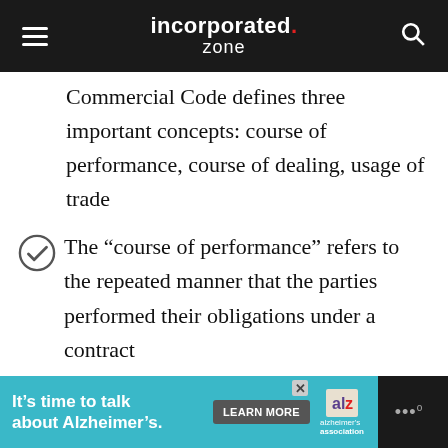incorporated.zone
Commercial Code defines three important concepts: course of performance, course of dealing, usage of trade
The “course of performance” refers to the repeated manner that the parties performed their obligations under a contract
The “course of dealing” refers to the repeated manner that the
It’s time to talk about Alzheimer’s. LEARN MORE | alzheimer’s association